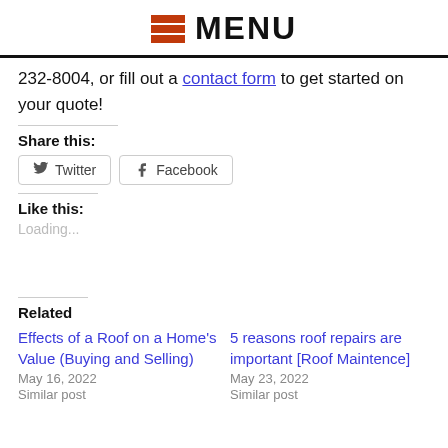MENU
232-8004, or fill out a contact form to get started on your quote!
Share this:
[Figure (other): Twitter and Facebook share buttons]
Like this:
Loading...
Related
Effects of a Roof on a Home's Value (Buying and Selling)
May 16, 2022
Similar post
5 reasons roof repairs are important [Roof Maintence]
May 23, 2022
Similar post